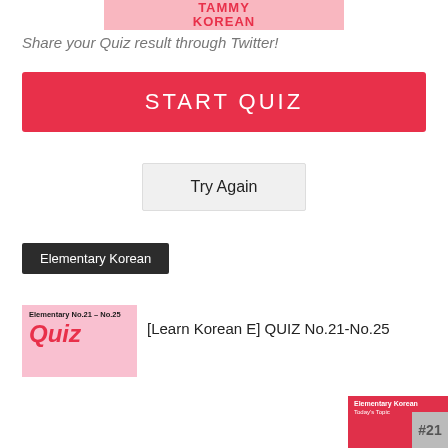TAMMY KOREAN
Share your Quiz result through Twitter!
START QUIZ
Try Again
Elementary Korean
[Figure (other): Thumbnail image for Elementary Korean No.21-No.25 Quiz with pink background and Quiz text in pink]
[Learn Korean E] QUIZ No.21-No.25
[Figure (other): Thumbnail for Elementary Korean lesson #21 with red background]